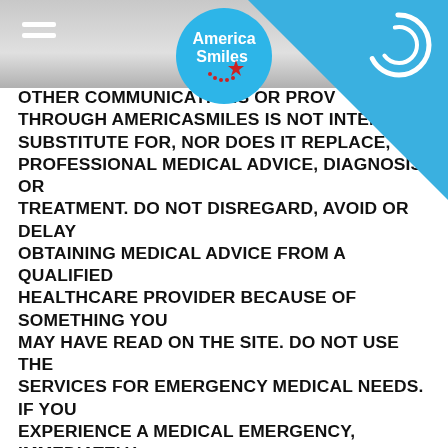[Figure (logo): America Smiles logo — circular blue badge with red star and dotted smile arc, white text 'America Smiles']
[Figure (other): Circular spinner/loading icon in white on blue background, top right corner]
OTHER COMMUNICATIONS OR PROVIDED THROUGH AMERICASMILES IS NOT INTENDED SUBSTITUTE FOR, NOR DOES IT REPLACE, PROFESSIONAL MEDICAL ADVICE, DIAGNOSIS, OR TREATMENT. DO NOT DISREGARD, AVOID OR DELAY OBTAINING MEDICAL ADVICE FROM A QUALIFIED HEALTHCARE PROVIDER BECAUSE OF SOMETHING YOU MAY HAVE READ ON THE SITE. DO NOT USE THE SERVICES FOR EMERGENCY MEDICAL NEEDS. IF YOU EXPERIENCE A MEDICAL EMERGENCY, IMMEDIATELY CALL A HEALTH CARE PROFESSIONAL AND 911. YOUR USE OF INFORMATION PROVIDED THROUGH THE SERVICES IS SOLELY AT YOUR OWN RISK. NOTHING STATED OR POSTED ON THE SITE OR AVAILABLE THROUGH ANY SERVICES IS INTENDED TO BE, AND MUST NOT BE TAKEN TO BE, THE PRACTICE OF MEDICINE, DENTISTRY, NURSING, OR OTHER PROFESSIONAL HEALTH CARE ADVICE, OR THE PROVISION OF MEDICAL CARE.